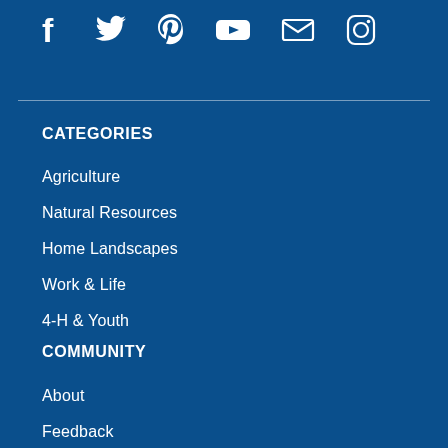[Figure (other): Social media icons row: Facebook, Twitter, Pinterest, YouTube, Email, Instagram — white icons on blue background]
CATEGORIES
Agriculture
Natural Resources
Home Landscapes
Work & Life
4-H & Youth
COMMUNITY
About
Feedback
Blogging Directory
Guidelines
What's New
Login